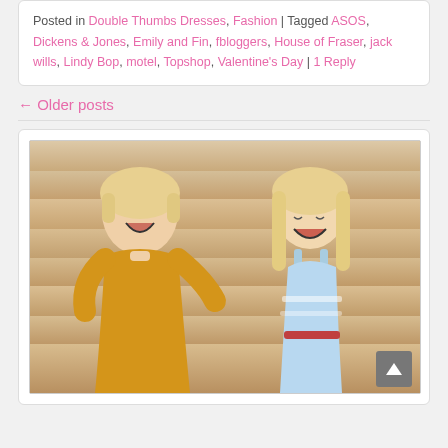Posted in Double Thumbs Dresses, Fashion | Tagged ASOS, Dickens & Jones, Emily and Fin, fbloggers, House of Fraser, jack wills, Lindy Bop, motel, Topshop, Valentine's Day | 1 Reply
← Older posts
[Figure (photo): Two young women laughing in front of a wooden plank wall. The woman on the left has short blonde hair and wears a mustard yellow dress. The woman on the right has long blonde hair and wears a light blue floral dress. Both are smiling broadly.]